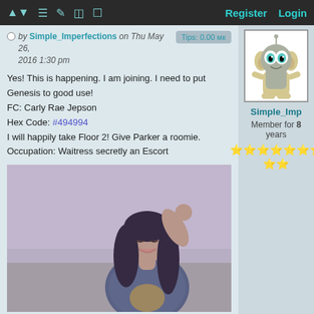Register  Login
by Simple_Imperfections on Thu May 26, 2016 1:30 pm  Tips: 0.00 мк
Yes! This is happening. I am joining. I need to put Genesis to good use!
FC: Carly Rae Jepson
Hex Code: #494994
I will happily take Floor 2! Give Parker a roomie.
Occupation: Waitress secretly an Escort
[Figure (photo): Photo of a young woman with long dark hair, wearing a denim jacket, posing outdoors with hand raised to head, smiling]
[Figure (illustration): Cartoon character GIR from Invader Zim, a small green robot with big eyes wearing a dog costume]
Simple_Imp
Member for 8 years
★★★★★★★★★★